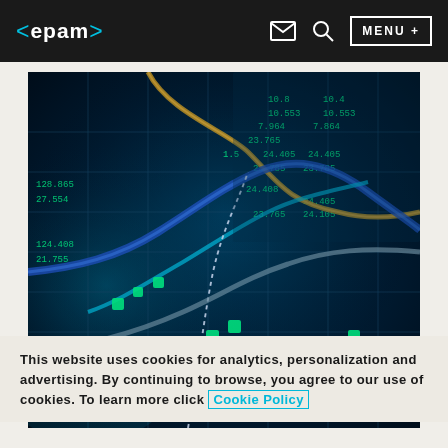<epam> [email icon] [search icon] MENU +
[Figure (photo): Close-up photo of a financial trading screen/display showing glowing green stock market numbers and data charts with colorful fiber optic or data cable lines in blue, orange, and white running across the screen in a dark environment.]
This website uses cookies for analytics, personalization and advertising. By continuing to browse, you agree to our use of cookies. To learn more click Cookie Policy